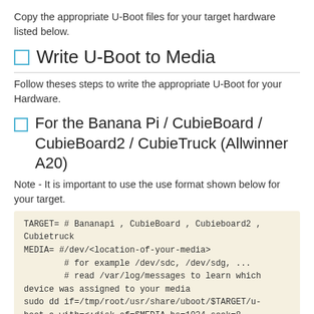Copy the appropriate U-Boot files for your target hardware listed below.
Write U-Boot to Media
Follow theses steps to write the appropriate U-Boot for your Hardware.
For the Banana Pi / CubieBoard / CubieBoard2 / CubieTruck (Allwinner A20)
Note - It is important to use the use format shown below for your target.
TARGET= # Bananapi , CubieBoard , Cubieboard2 , Cubietruck
MEDIA= #/dev/<location-of-your-media>
        # for example /dev/sdc, /dev/sdg, ...
        # read /var/log/messages to learn which device was assigned to your media
sudo dd if=/tmp/root/usr/share/uboot/$TARGET/u-boot.a with=<:disk of=$MEDIA bs=1024 seek=8